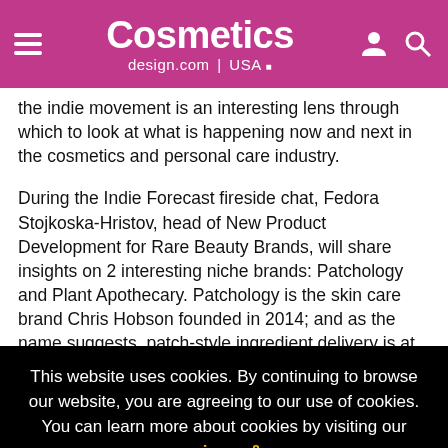Cosmetics design.com | USA
the indie movement is an interesting lens through which to look at what is happening now and next in the cosmetics and personal care industry.
During the Indie Forecast fireside chat, Fedora Stojkoska-Hristov, head of New Product Development for Rare Beauty Brands, will share insights on 2 interesting niche brands: Patchology and Plant Apothecary. Patchology is the skin care brand Chris Hobson founded in 2014; and as the name suggests, patch-style ingredient delivery is at the heart of the
This website uses cookies. By continuing to browse our website, you are agreeing to our use of cookies. You can learn more about cookies by visiting our privacy & cookies policy page.
I Agree